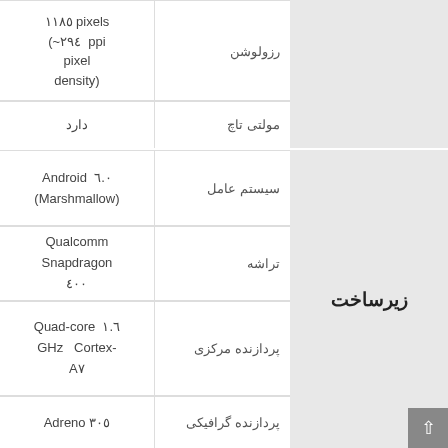| مشخصه | مقدار | دسته |
| --- | --- | --- |
| رزولوشن | ١١٨٥ pixels (~٢٩٤ ppi pixel density) |  |
| مولتی تاچ | دارد |  |
| سیستم عامل | Android ٦.٠ (Marshmallow) | زیرساخت |
| تراشه | Qualcomm Snapdragon ٤٠٠ | زیرساخت |
| پردازنده مرکزی | Quad-core ١.٦ GHz Cortex-A٧ | زیرساخت |
| پردازنده گرافیکی | Adreno ٣٠٥ | زیرساخت |